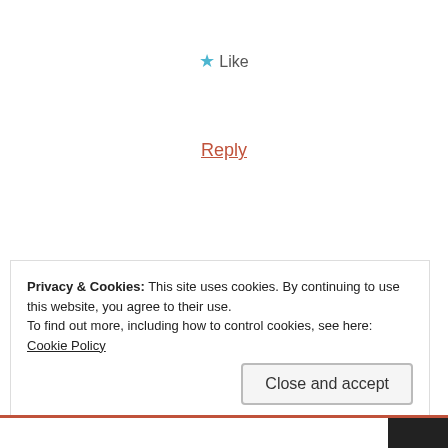★ Like
Reply
KT Brison
NOVEMBER 29, 2014 AT 12:51 PM
Privacy & Cookies: This site uses cookies. By continuing to use this website, you agree to their use.
To find out more, including how to control cookies, see here: Cookie Policy
Close and accept